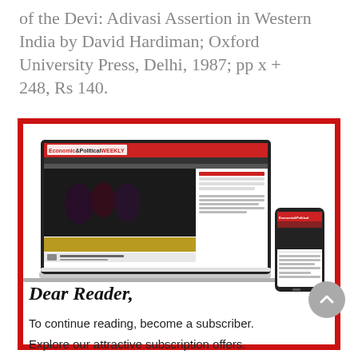of the Devi: Adivasi Assertion in Western India by David Hardiman; Oxford University Press, Delhi, 1987; pp x + 248, Rs 140.
[Figure (screenshot): Screenshot of Economic & Political Weekly website shown on a laptop and a mobile phone, displayed within a red-bordered box.]
Dear Reader,
To continue reading, become a subscriber.
Explore our attractive subscription offers.